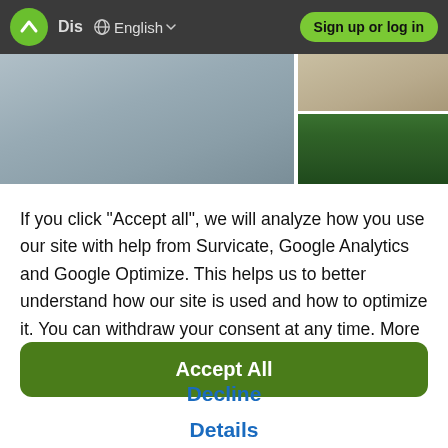Dis  English  Sign up or log in
[Figure (screenshot): Photo strip showing outdoor landscape images — foggy/grey sky on the left, tan/beige terrain top right, green tree canopy bottom right]
If you click "Accept all", we will analyze how you use our site with help from Survicate, Google Analytics and Google Optimize. This helps us to better understand how our site is used and how to optimize it. You can withdraw your consent at any time. More information is visible in our Privacy Policy.
Accept All
Decline
Details